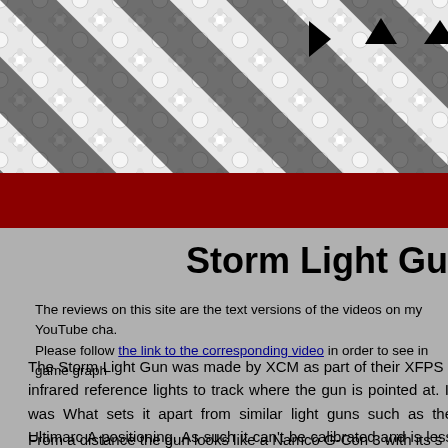[Figure (photo): Header image with diagonal light and shadow stripe pattern over a floral/bubble texture background in black and white]
Storm Light Gu
The reviews on this site are the text versions of the videos on my YouTube cha. Please follow the link to the corresponding video in order to see in game graph
The Storm Light Gun was made by XCM as part of their XFPS r infrared reference lights to track where the gun is pointed at. It was What sets it apart from similar light guns such as the Ultimarc A positioning. As such it can't be calibrated and is less accurate. incompatible. For the Sony PlayStation 3 another version of the gu
From a distance the gun looks like a Namco G-Con 3 with its s